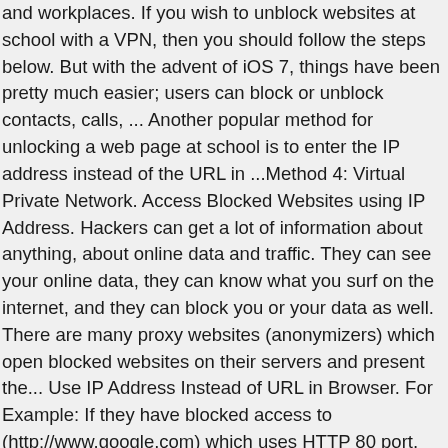and workplaces. If you wish to unblock websites at school with a VPN, then you should follow the steps below. But with the advent of iOS 7, things have been pretty much easier; users can block or unblock contacts, calls, ... Another popular method for unlocking a web page at school is to enter the IP address instead of the URL in ...Method 4: Virtual Private Network. Access Blocked Websites using IP Address. Hackers can get a lot of information about anything, about online data and traffic. They can see your online data, they can know what you surf on the internet, and they can block you or your data as well. There are many proxy websites (anonymizers) which open blocked websites on their servers and present the... Use IP Address Instead of URL in Browser. For Example: If they have blocked access to (http://www.google.com) which uses HTTP 80 port, you can still access Google.com just by adding "s" just after the "http" portion of a URL (example: https://www.google.com). Today I will be showing you how to unblock practically any website on your school-issued computer! It masks your identity and enables you to browse the blocked websites anonymously. I enjoy